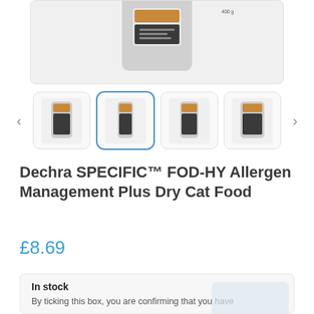[Figure (photo): Main product image of Dechra SPECIFIC FOD-HY Allergen Management Plus Dry Cat Food bag, partially cropped at top, showing grey and white packaging on a light grey background.]
[Figure (photo): Thumbnail gallery row with four product images and left/right navigation arrows. Second thumbnail is selected with a blue border.]
Dechra SPECIFIC™ FOD-HY Allergen Management Plus Dry Cat Food
£8.69
In stock
By ticking this box, you are confirming that you have